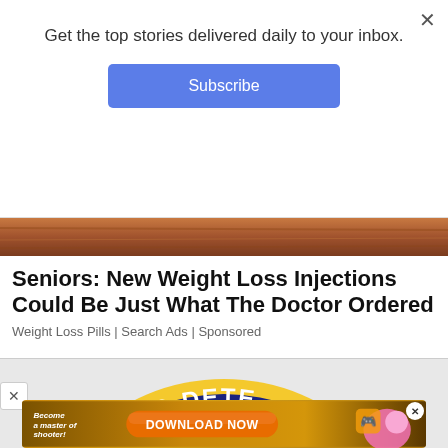Get the top stories delivered daily to your inbox.
Subscribe
[Figure (photo): Brown wooden surface/table edge photo strip]
Seniors: New Weight Loss Injections Could Be Just What The Doctor Ordered
Weight Loss Pills | Search Ads | Sponsored
[Figure (logo): Circular government investigation and deterrence seal with navy blue border, gold rope trim, yellow text reading STIGATION AND DETE, red triangle with yellow star, green laurel branches, on light blue background]
[Figure (screenshot): Bottom advertisement banner: gold/brown background with text 'Become a master of shooter!', orange button 'DOWNLOAD NOW', and cartoon characters on right]